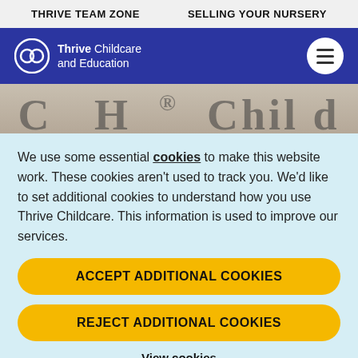THRIVE TEAM ZONE   SELLING YOUR NURSERY
[Figure (logo): Thrive Childcare and Education logo with circular icon on dark blue background, plus hamburger menu button]
[Figure (photo): Partial hero image showing blurred children background with large partial text visible]
We use some essential cookies to make this website work. These cookies aren't used to track you. We'd like to set additional cookies to understand how you use Thrive Childcare. This information is used to improve our services.
ACCEPT ADDITIONAL COOKIES
REJECT ADDITIONAL COOKIES
View cookies